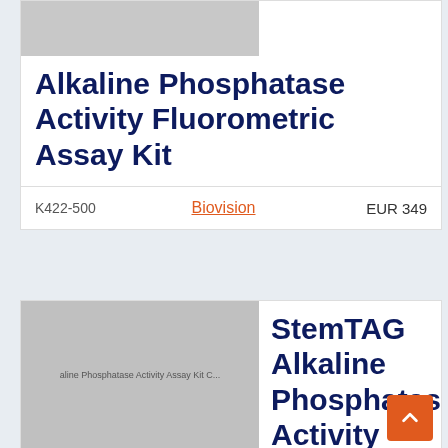[Figure (photo): Gray placeholder image for product 1]
Alkaline Phosphatase Activity Fluorometric Assay Kit
| SKU | Brand |  | Price |
| --- | --- | --- | --- |
| K422-500 | Biovision |  | EUR 349 |
[Figure (photo): Gray product image for StemTAG Alkaline Phosphatase Activity Assay Kit with partial label text visible]
StemTAG Alkaline Phosphatase Activity